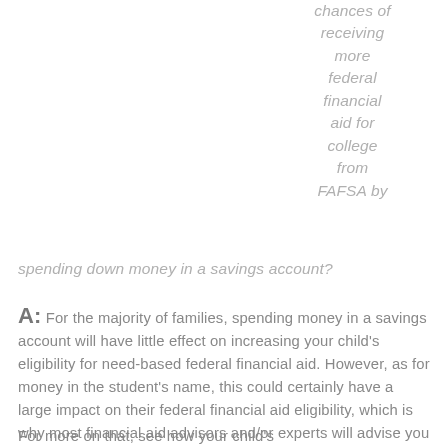chances of receiving more federal financial aid for college from FAFSA by spending down money in a savings account?
A: For the majority of families, spending money in a savings account will have little effect on increasing your child's eligibility for need-based federal financial aid. However, as for money in the student's name, this could certainly have a large impact on their federal financial aid eligibility, which is why most financial aid advisors and/or experts will advise you to spend down the student's assets and income first, and/or to save money in the parent's name, and not the child's name.
For more on that, see how your child's...